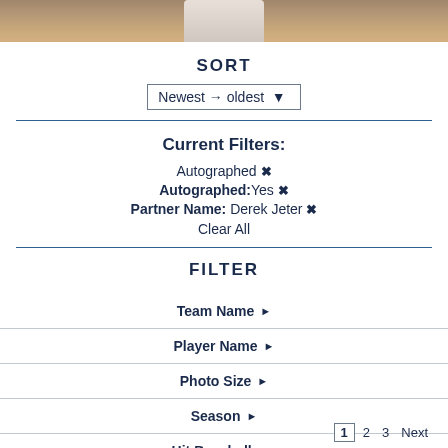[Figure (photo): Partial photo of baseball players on field, cropped at top]
SORT
Newest → oldest ▾
Current Filters:
Autographed ✕
Autographed: Yes ✕
Partner Name: Derek Jeter ✕
Clear All
FILTER
Team Name ▶
Player Name ▶
Photo Size ▶
Season ▶
Hit Baseballs ▶
1  2  3  Next